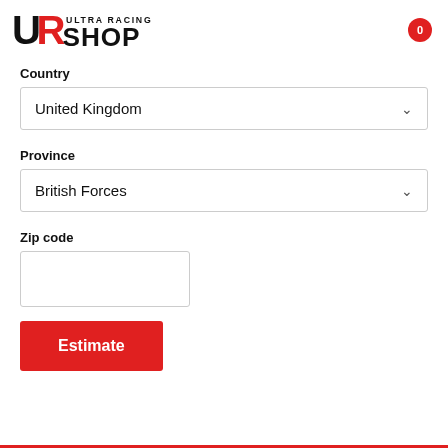[Figure (logo): Ultra Racing Shop logo — 'UR' letters combined with 'ULTRA RACING SHOP' text in black and red]
0
Country
United Kingdom
Province
British Forces
Zip code
Estimate